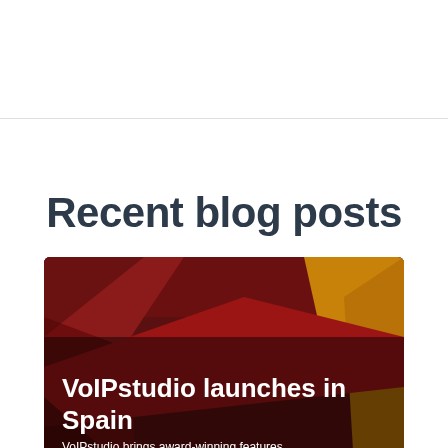Recent blog posts
[Figure (photo): Blog post card with a dark red/maroon background showing abstract flag-like shapes (red and yellow) — likely the Spanish flag. Overlaid white bold text reads 'VoIPstudio launches in Spain' as the title, with body text 'VoIPstudio brings award-winning features, premium quality voice and intuitive mobile and']
VoIPstudio launches in Spain
VoIPstudio brings award-winning features, premium quality voice and intuitive mobile and